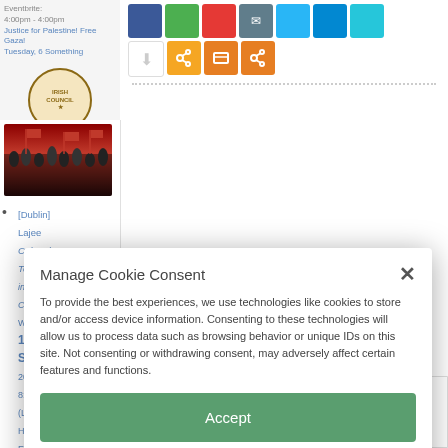[Figure (screenshot): Share/social media icon buttons in a grid: blue, green, red, dark, light blue, sky blue, teal colored squares, plus pocket/save, link, print, and share orange buttons]
[Figure (photo): Crowd of people with red flags/banners, appears to be a political rally or cultural event]
[Dublin] Lajee Cultural Tour Concert Wed, 14 September 2022, 8:00PM (Liberty Hall, Eden Quay, Dublin 1)
Manage Cookie Consent
To provide the best experiences, we use technologies like cookies to store and/or access device information. Consenting to these technologies will allow us to process data such as browsing behavior or unique IDs on this site. Not consenting or withdrawing consent, may adversely affect certain features and functions.
Accept
Deny
View preferences
Cookie Policy